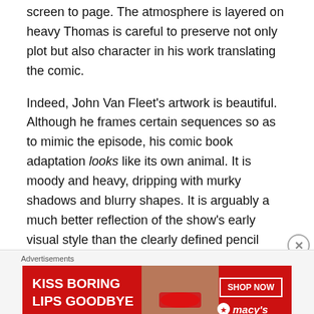screen to page. The atmosphere is layered on heavy Thomas is careful to preserve not only plot but also character in his work translating the comic.
Indeed, John Van Fleet's artwork is beautiful. Although he frames certain sequences so as to mimic the episode, his comic book adaptation looks like its own animal. It is moody and heavy, dripping with murky shadows and blurry shapes. It is arguably a much better reflection of the show's early visual style than the clearly defined pencil work of artists like Gordon Purcell. John Van Fleet manages to capture the look and feel of those shadowy early episodes perfectly, while keeping everything recognisable.
Advertisements
[Figure (illustration): Macy's advertisement banner with red background showing 'KISS BORING LIPS GOODBYE' text and 'SHOP NOW' button with Macy's logo and a photo of a woman's face]